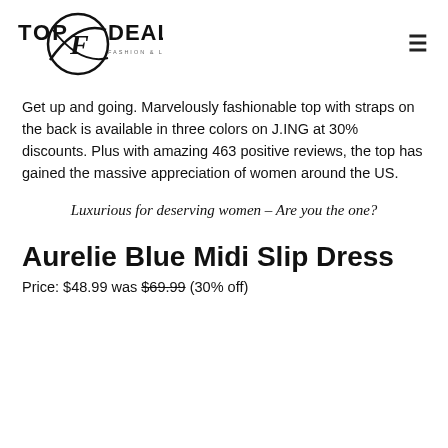Top Deals Fashion & Lifestyle
Get up and going. Marvelously fashionable top with straps on the back is available in three colors on J.ING at 30% discounts. Plus with amazing 463 positive reviews, the top has gained the massive appreciation of women around the US.
Luxurious for deserving women – Are you the one?
Aurelie Blue Midi Slip Dress
Price: $48.99 was $69.99 (30% off)